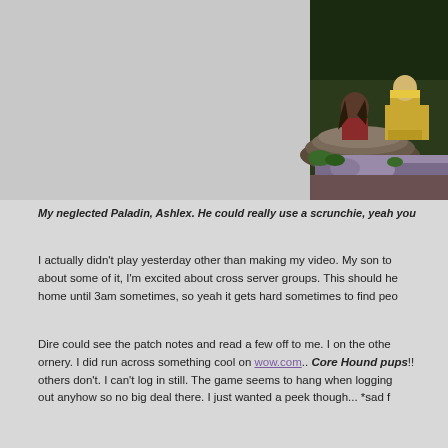[Figure (screenshot): Screenshot from World of Warcraft showing game characters near a decorative stone structure in a garden/outdoor area. One character appears to be a Paladin with long dark hair sitting on a ledge, and another character in gold/white armor stands nearby.]
My neglected Paladin, Ashlex. He could really use a scrunchie, yeah you...
I actually didn't play yesterday other than making my video. My son to... about some of it, I'm excited about cross server groups. This should he... home until 3am sometimes, so yeah it gets hard sometimes to find peo...
Dire could see the patch notes and read a few off to me. I on the othe... ornery. I did run across something cool on wow.com.. Core Hound pups!!... others don't. I can't log in still. The game seems to hang when logging... out anyhow so no big deal there. I just wanted a peek though... *sad f...